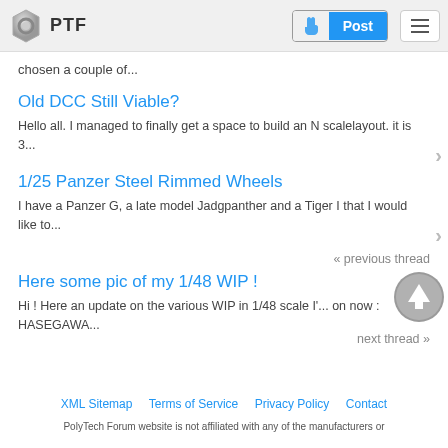PTF | Post
chosen a couple of...
Old DCC Still Viable?
Hello all. I managed to finally get a space to build an N scalelayout. it is 3...
1/25 Panzer Steel Rimmed Wheels
I have a Panzer G, a late model Jadgpanther and a Tiger I that I would like to...
« previous thread
Here some pic of my 1/48 WIP !
Hi ! Here an update on the various WIP in 1/48 scale I'... on now : HASEGAWA...
next thread »
XML Sitemap   Terms of Service   Privacy Policy   Contact
PolyTech Forum website is not affiliated with any of the manufacturers or